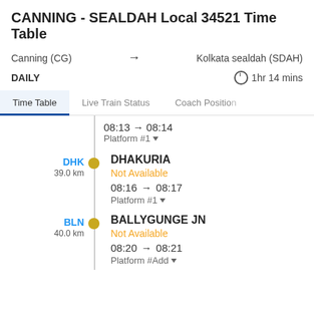CANNING - SEALDAH Local 34521 Time Table
Canning (CG) → Kolkata sealdah (SDAH)
DAILY  ⏱ 1hr 14 mins
Time Table | Live Train Status | Coach Position
08:13 → 08:14
Platform #1
DHK
39.0 km
DHAKURIA
Not Available
08:16 → 08:17
Platform #1
BLN
40.0 km
BALLYGUNGE JN
Not Available
08:20 → 08:21
Platform #Add